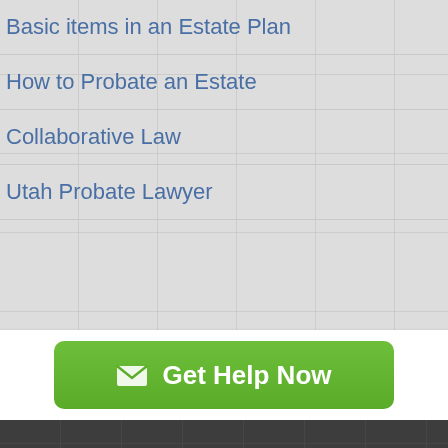Basic items in an Estate Plan
How to Probate an Estate
Collaborative Law
Utah Probate Lawyer
[Figure (other): Green call-to-action button with envelope icon and text 'Get Help Now']
The Essential Divorce Guide
[Figure (other): Blue pill-shaped button with text 'FREE DOWNLOAD']